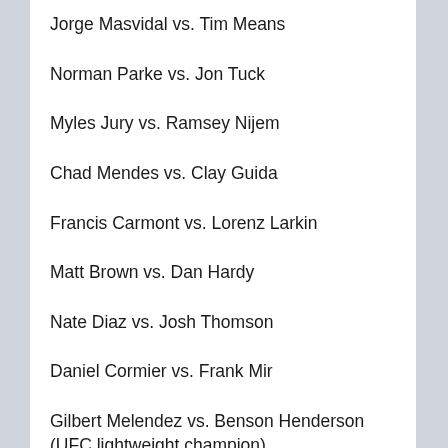Jorge Masvidal vs. Tim Means
Norman Parke vs. Jon Tuck
Myles Jury vs. Ramsey Nijem
Chad Mendes vs. Clay Guida
Francis Carmont vs. Lorenz Larkin
Matt Brown vs. Dan Hardy
Nate Diaz vs. Josh Thomson
Daniel Cormier vs. Frank Mir
Gilbert Melendez vs. Benson Henderson (UFC lightweight champion)
Don't forget to follow @5thRound on Twitter, Facebook and Google+!
[Figure (other): Blue gradient button with text 'MORE RELATEAD MMA ARTICLES']